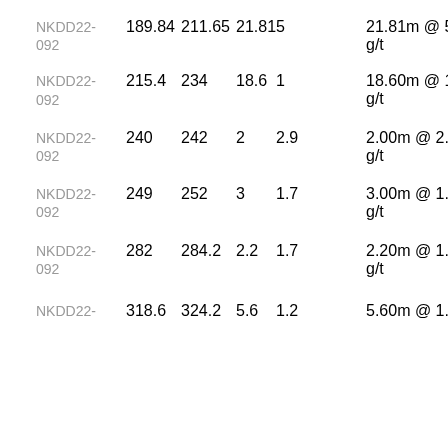| NKDD22-092 | 189.84 | 211.65 | 21.81 | 5 | 21.81m @ 5.0 g/t |
| NKDD22-092 | 215.4 | 234 | 18.6 | 1 | 18.60m @ 1.0 g/t |
| NKDD22-092 | 240 | 242 | 2 | 2.9 | 2.00m @ 2.9 g/t |
| NKDD22-092 | 249 | 252 | 3 | 1.7 | 3.00m @ 1.7 g/t |
| NKDD22-092 | 282 | 284.2 | 2.2 | 1.7 | 2.20m @ 1.7 g/t |
| NKDD22- | 318.6 | 324.2 | 5.6 | 1.2 | 5.60m @ 1.2 |